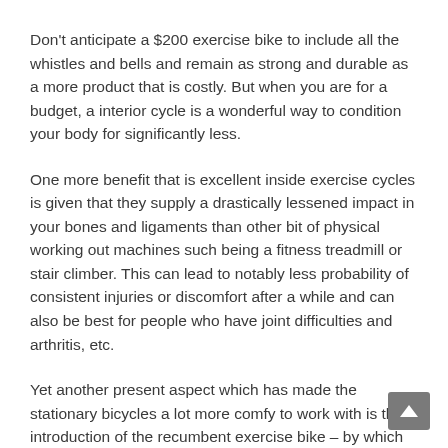Don't anticipate a $200 exercise bike to include all the whistles and bells and remain as strong and durable as a more product that is costly. But when you are for a budget, a interior cycle is a wonderful way to condition your body for significantly less.
One more benefit that is excellent inside exercise cycles is given that they supply a drastically lessened impact in your bones and ligaments than other bit of physical working out machines such being a fitness treadmill or stair climber. This can lead to notably less probability of consistent injuries or discomfort after a while and can also be best for people who have joint difficulties and arthritis, etc.
Yet another present aspect which has made the stationary bicycles a lot more comfy to work with is the introduction of the recumbent exercise bike – by which